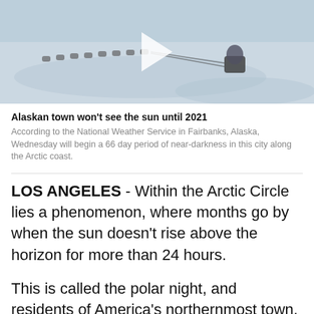[Figure (photo): Aerial or wide-angle photo of a dog sled team running across a snowy landscape with a musher, taken in low winter light. A play button overlay is visible in the top-left area indicating a video.]
Alaskan town won't see the sun until 2021
According to the National Weather Service in Fairbanks, Alaska, Wednesday will begin a 66 day period of near-darkness in this city along the Arctic coast.
LOS ANGELES - Within the Arctic Circle lies a phenomenon, where months go by when the sun doesn't rise above the horizon for more than 24 hours.
This is called the polar night, and residents of America's northernmost town, Utqiaġvik, Alaska – formerly known as Barrow — will watch this happen Wednesday.
According to the National Weather Service in